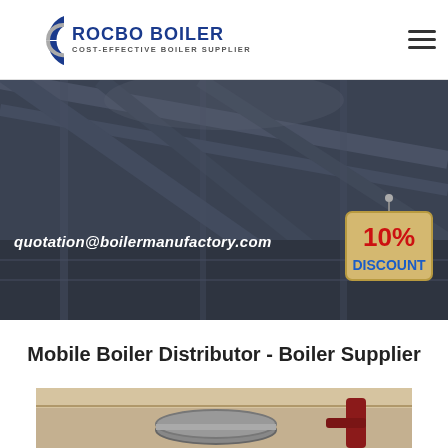[Figure (logo): Rocbo Boiler logo with circular C icon and tagline COST-EFFECTIVE BOILER SUPPLIER]
[Figure (photo): Dark industrial boiler factory interior hero banner with email quotation@boilermanufactory.com and 10% DISCOUNT badge]
Mobile Boiler Distributor - Boiler Supplier
[Figure (photo): Partial photo of boiler piping and equipment at the bottom of the page]